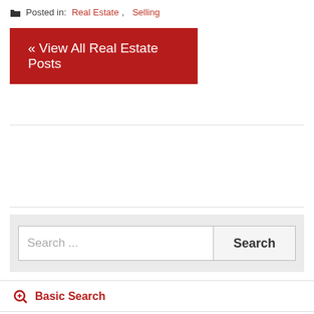Posted in: Real Estate, Selling
« View All Real Estate Posts
Search ...
Basic Search
Advanced Search
Home Valuation